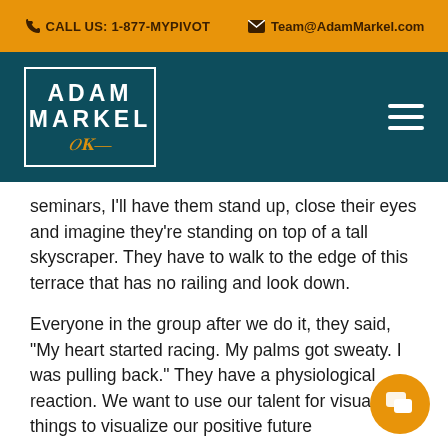CALL US: 1-877-MYPIVOT   Team@AdamMarkel.com
[Figure (logo): Adam Markel logo with name in white on dark teal background, bordered box with signature]
seminars, I'll have them stand up, close their eyes and imagine they're standing on top of a tall skyscraper. They have to walk to the edge of this terrace that has no railing and look down.
Everyone in the group after we do it, they said, "My heart started racing. My palms got sweaty. I was pulling back." They have a physiological reaction. We want to use our talent for visualizing things to visualize our positive future